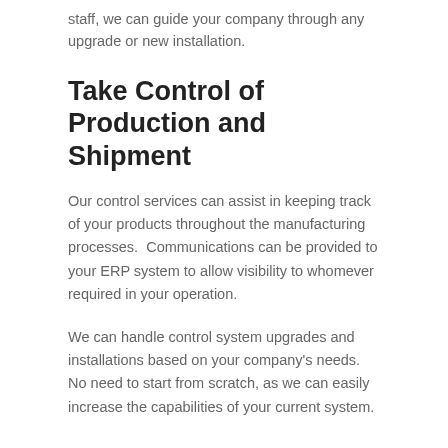staff, we can guide your company through any upgrade or new installation.
Take Control of Production and Shipment
Our control services can assist in keeping track of your products throughout the manufacturing processes.  Communications can be provided to your ERP system to allow visibility to whomever required in your operation.
We can handle control system upgrades and installations based on your company's needs. No need to start from scratch, as we can easily increase the capabilities of your current system.
Conveyors Keep Your Products in Motion